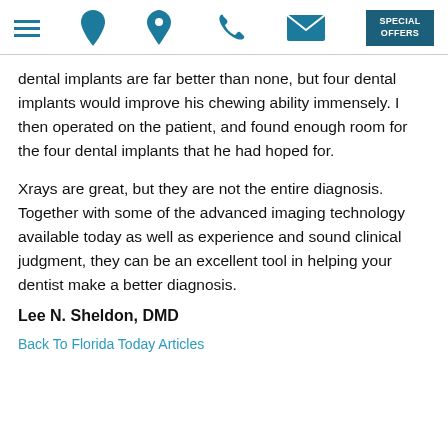[hamburger menu icon] [phone icon] [location pin icon] [envelope icon] SPECIAL OFFERS
dental implants are far better than none, but four dental implants would improve his chewing ability immensely. I then operated on the patient, and found enough room for the four dental implants that he had hoped for.
Xrays are great, but they are not the entire diagnosis.  Together with some of the advanced imaging technology available today as well as experience and sound clinical judgment, they can be an excellent tool in helping your dentist make a better diagnosis.
Lee N. Sheldon, DMD
Back To Florida Today Articles